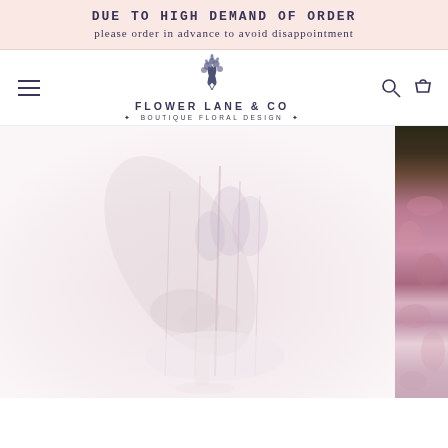DUE TO HIGH DEMAND OF ORDER
please order in advance to avoid disappointment
[Figure (logo): Flower Lane & Co logo with floral illustration and text FLOWER LANE & CO, BOUTIQUE FLORAL DESIGN]
[Figure (photo): Faded dried floral arrangement in soft pink and lavender tones on white background, with a vibrant purple and pink dried flower arrangement visible on the right edge]